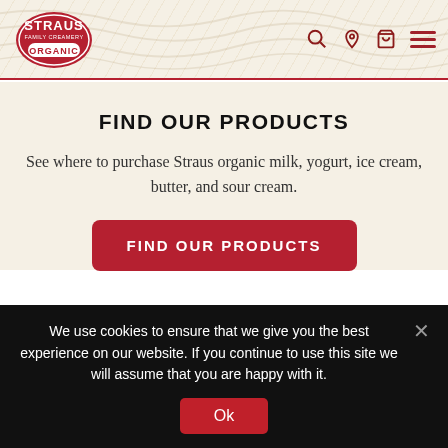[Figure (logo): Straus Family Creamery Organic logo in red and white, shield shape]
FIND OUR PRODUCTS
See where to purchase Straus organic milk, yogurt, ice cream, butter, and sour cream.
FIND OUR PRODUCTS
JOIN OUR NEWSLETTER
We use cookies to ensure that we give you the best experience on our website. If you continue to use this site we will assume that you are happy with it.
Ok